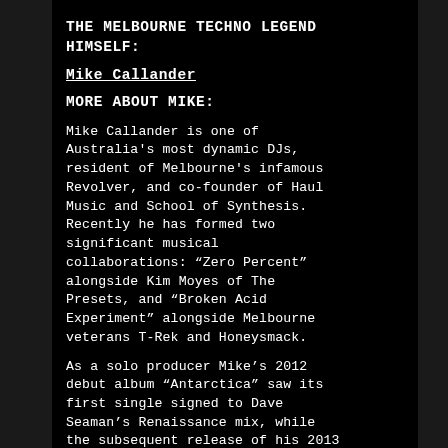THE MELBOURNE TECHNO LEGEND HIMSELF:
Mike Callander
MORE ABOUT MIKE:
Mike Callander is one of Australia's most dynamic DJs, resident of Melbourne's infamous Revolver, and co-founder of Haul Music and School of Synthesis. Recently he has formed two significant musical collaborations: “Zero Percent” alongside Kim Moyes of The Presets, and “Broken Acid Experiment” alongside Melbourne veterans T-Rek and Honeysmack.
As a solo producer Mike’s 2012 debut album “Antarctica” saw its first single signed to Dave Seaman’s Renaissance mix, while the subsequent release of his 2013 remix album resulted in another signing, this time to Phil K’s